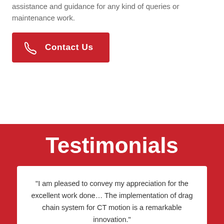assistance and guidance for any kind of queries or maintenance work.
[Figure (other): Red 'Contact Us' button with phone icon]
Testimonials
“I am pleased to convey my appreciation for the excellent work done… The implementation of drag chain system for CT motion is a remarkable innovation.”
– Jamshedpur Utilities and Services Co.
(Formerly a part of Tata Steel),